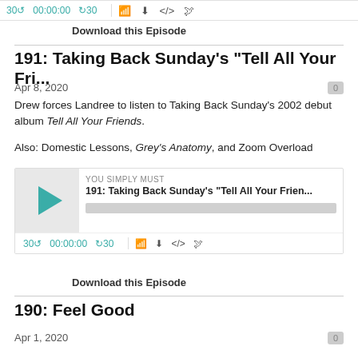[Figure (screenshot): Podcast player controls bar at top with rewind 30, 00:00:00, forward 30, RSS, download, embed, and share icons]
Download this Episode
191: Taking Back Sunday's "Tell All Your Fri...
Apr 8, 2020
Drew forces Landree to listen to Taking Back Sunday's 2002 debut album Tell All Your Friends.
Also: Domestic Lessons, Grey's Anatomy, and Zoom Overload
[Figure (screenshot): Podcast player for episode 191 with play button, episode title, progress bar, and controls]
Download this Episode
190: Feel Good
Apr 1, 2020